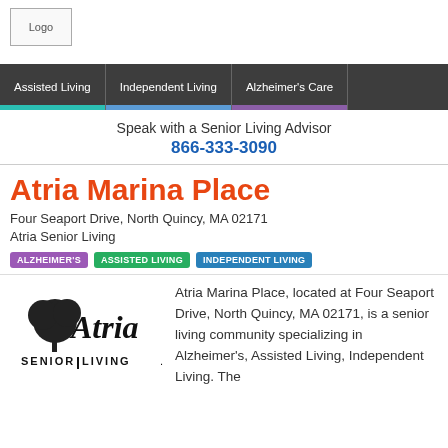[Figure (logo): Logo placeholder image in top left corner]
Assisted Living | Independent Living | Alzheimer's Care
Speak with a Senior Living Advisor
866-333-3090
Atria Marina Place
Four Seaport Drive, North Quincy, MA 02171
Atria Senior Living
ALZHEIMER'S  ASSISTED LIVING  INDEPENDENT LIVING
[Figure (logo): Atria Senior Living logo - black text script with tree illustration]
Atria Marina Place, located at Four Seaport Drive, North Quincy, MA 02171, is a senior living community specializing in Alzheimer's, Assisted Living, Independent Living. The